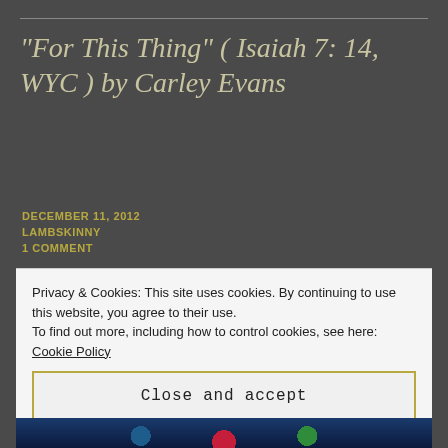“For This Thing” ( Isaiah 7: 14, WYC ) by Carley Evans
DECEMBER 11, 2012
LAMBSKINNY
1 COMMENT
Privacy & Cookies: This site uses cookies. By continuing to use this website, you agree to their use.
To find out more, including how to control cookies, see here: Cookie Policy
Close and accept
[Figure (photo): Stained glass window photo at the bottom of the page]